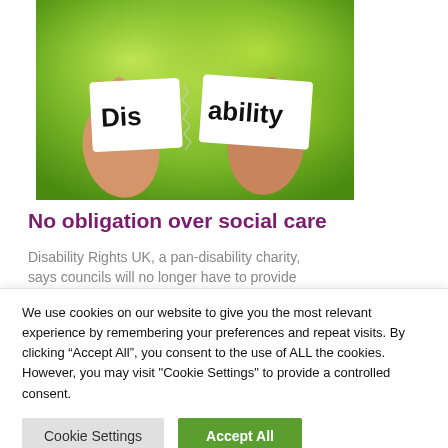[Figure (photo): Two hands tearing a piece of paper with the word 'Disability' printed on it, splitting between 'Dis' and 'ability', against a green bokeh background]
No obligation over social care
Disability Rights UK, a pan-disability charity, says councils will no longer have to provide
We use cookies on our website to give you the most relevant experience by remembering your preferences and repeat visits. By clicking "Accept All", you consent to the use of ALL the cookies. However, you may visit "Cookie Settings" to provide a controlled consent.